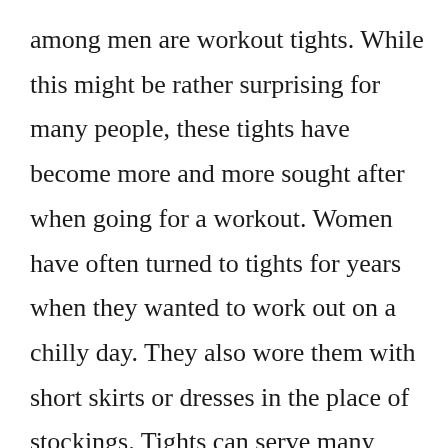among men are workout tights. While this might be rather surprising for many people, these tights have become more and more sought after when going for a workout. Women have often turned to tights for years when they wanted to work out on a chilly day. They also wore them with short skirts or dresses in the place of stockings. Tights can serve many functions and women have known that for a very long time. Now, men are realizing that tights can be useful to them